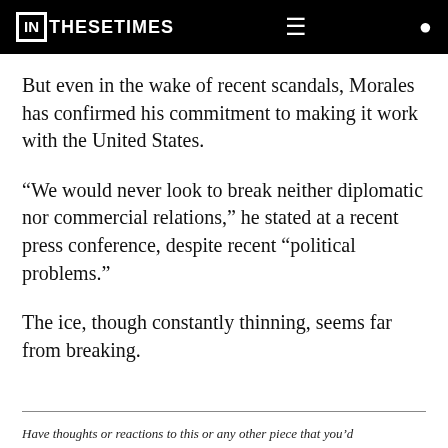IN THESE TIMES
But even in the wake of recent scandals, Morales has confirmed his commitment to making it work with the United States.
“We would never look to break neither diplomatic nor commercial relations,” he stated at a recent press conference, despite recent “political problems.”
The ice, though constantly thinning, seems far from breaking.
Have thoughts or reactions to this or any other piece that you’d